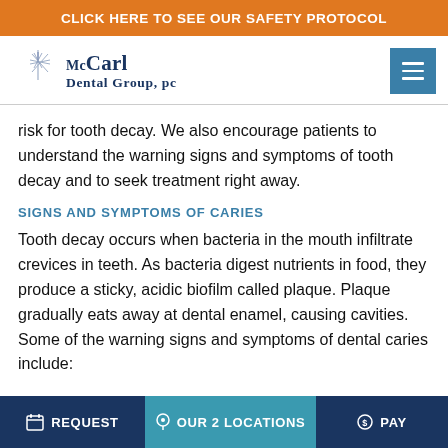CLICK HERE TO SEE OUR SAFETY PROTOCOL
[Figure (logo): McCarl Dental Group, PC logo with star/compass graphic and text]
risk for tooth decay. We also encourage patients to understand the warning signs and symptoms of tooth decay and to seek treatment right away.
SIGNS AND SYMPTOMS OF CARIES
Tooth decay occurs when bacteria in the mouth infiltrate crevices in teeth. As bacteria digest nutrients in food, they produce a sticky, acidic biofilm called plaque. Plaque gradually eats away at dental enamel, causing cavities. Some of the warning signs and symptoms of dental caries include:
REQUEST  OUR 2 LOCATIONS  PAY